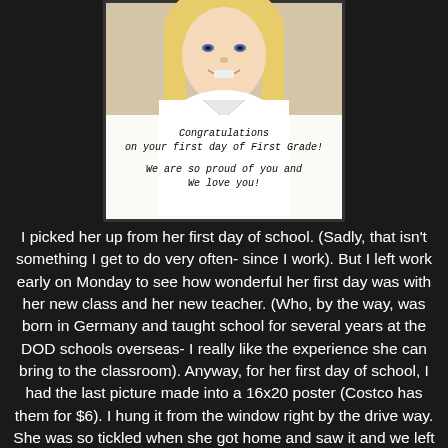[Figure (photo): Photo of a young blonde girl in a white polo shirt, smiling. Overlaid text reads: 'Congratulations on your first day of First Grade! We are so proud of you and We love you!']
I picked her up from her first day of school. (Sadly, that isn't something I get to do very often- since I work). But I left work early on Monday to see how wonderful her first day was with her new class and her new teacher. (Who, by the way, was born in Germany and taught school for several years at the DOD schools overseas- I really like the experience she can bring to the classroom). Anyway, for her first day of school, I had the last picture made into a 16x20 poster (Costco has them for $6). I hung it from the window right by the drive way. She was so tickled when she got home and saw it and we left it up until Scott got home. Our cute little girl now has